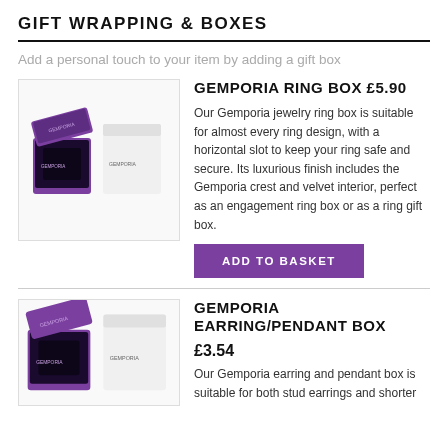GIFT WRAPPING & BOXES
Add a personal touch to your item by adding a gift box
GEMPORIA RING BOX £5.90
[Figure (photo): Two Gemporia ring boxes — one open showing black velvet interior (purple exterior) and one closed white box]
Our Gemporia jewelry ring box is suitable for almost every ring design, with a horizontal slot to keep your ring safe and secure. Its luxurious finish includes the Gemporia crest and velvet interior, perfect as an engagement ring box or as a ring gift box.
ADD TO BASKET
GEMPORIA EARRING/PENDANT BOX
£3.54
[Figure (photo): Two Gemporia earring/pendant boxes — one open showing black velvet interior (purple exterior) and one closed white box]
Our Gemporia earring and pendant box is suitable for both stud earrings and shorter